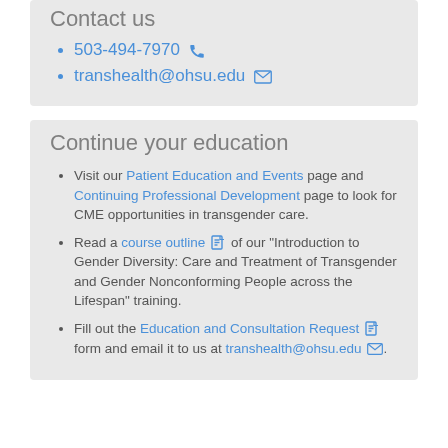Contact us
503-494-7970 [phone icon]
transhealth@ohsu.edu [email icon]
Continue your education
Visit our Patient Education and Events page and Continuing Professional Development page to look for CME opportunities in transgender care.
Read a course outline [pdf icon] of our "Introduction to Gender Diversity: Care and Treatment of Transgender and Gender Nonconforming People across the Lifespan" training.
Fill out the Education and Consultation Request [pdf icon] form and email it to us at transhealth@ohsu.edu [email icon].